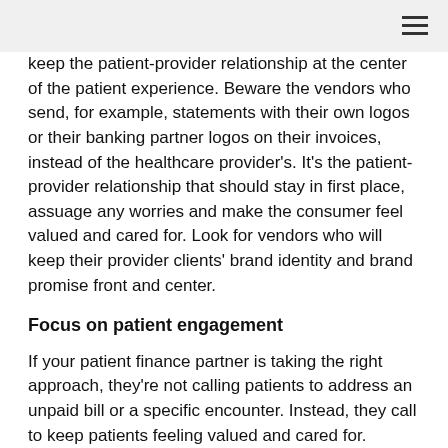keep the patient-provider relationship at the center of the patient experience. Beware the vendors who send, for example, statements with their own logos or their banking partner logos on their invoices, instead of the healthcare provider’s. It’s the patient-provider relationship that should stay in first place, assuage any worries and make the consumer feel valued and cared for. Look for vendors who will keep their provider clients’ brand identity and brand promise front and center.
Focus on patient engagement
If your patient finance partner is taking the right approach, they’re not calling patients to address an unpaid bill or a specific encounter. Instead, they call to keep patients feeling valued and cared for. They’re calling to talk about empowering patients to get care when they need it on an ongoing basis, and to offer a way to manage that ongoing empowerment with a revolving line of credit or another financial service. This is not volume work; this is quality work.